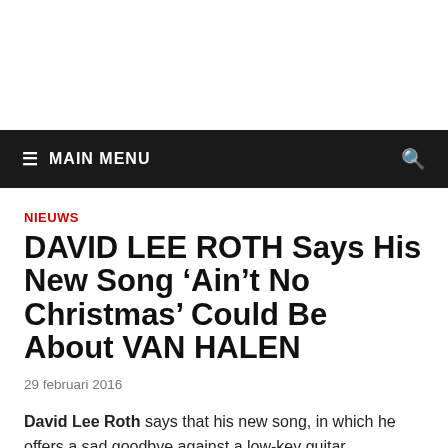MAIN MENU
NIEUWS
DAVID LEE ROTH Says His New Song ‘Ain’t No Christmas’ Could Be About VAN HALEN
29 februari 2016
David Lee Roth says that his new song, in which he offers a sad goodbye against a low-key guitar accompaniment, could be about VAN HALEN.